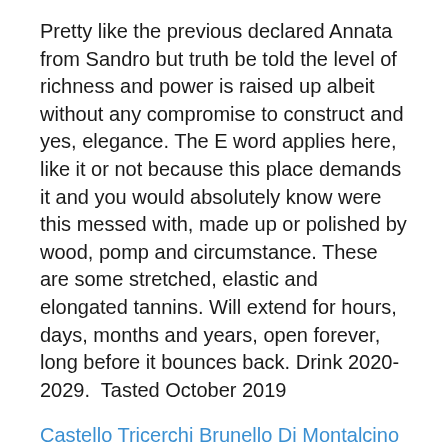Pretty like the previous declared Annata from Sandro but truth be told the level of richness and power is raised up albeit without any compromise to construct and yes, elegance. The E word applies here, like it or not because this place demands it and you would absolutely know were this messed with, made up or polished by wood, pomp and circumstance. These are some stretched, elastic and elongated tannins. Will extend for hours, days, months and years, open forever, long before it bounces back. Drink 2020-2029.  Tasted October 2019
Castello Tricerchi Brunello Di Montalcino DOCG 2015
Reductive and underage this sangiovese toys with the idea of youthful ambition and blind faith. A touch past ripe in the teasing vintage of available exceptionalities and the race for potential glory. Certainly a Brunello very close and